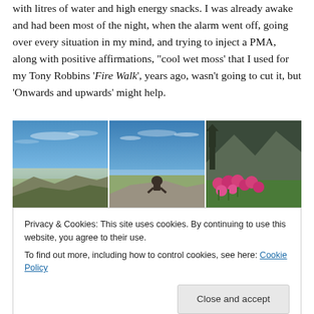with litres of water and high energy snacks. I was already awake and had been most of the night, when the alarm went off, going over every situation in my mind, and trying to inject a PMA, along with positive affirmations, "cool wet moss' that I used for my Tony Robbins 'Fire Walk', years ago, wasn't going to cut it, but 'Onwards and upwards' might help.
[Figure (photo): Three landscape/nature photos side by side: left shows a wide panoramic view from a rocky summit with blue sky and clouds; center shows a person sitting on a rock with a vast valley below; right shows pink wildflowers in a green meadow with mountains behind.]
Privacy & Cookies: This site uses cookies. By continuing to use this website, you agree to their use.
To find out more, including how to control cookies, see here: Cookie Policy